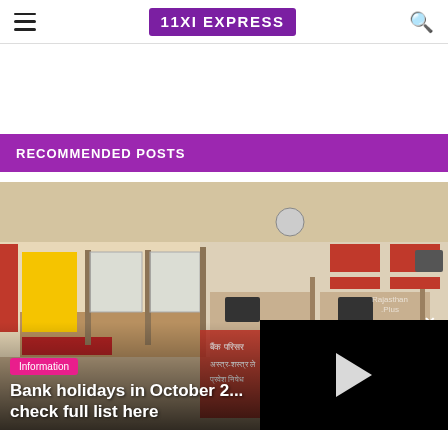11XI EXPRESS
[Figure (screenshot): Website screenshot of 11XI Express news page with recommended posts section and a bank interior image article card]
RECOMMENDED POSTS
[Figure (photo): Interior of a bank branch with counters, teller windows, and red signage in Hindi]
Information
Bank holidays in October 2... check full list here